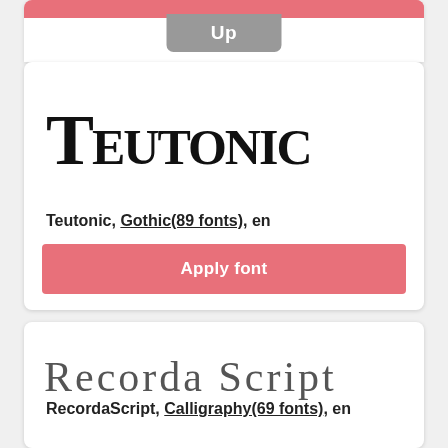[Figure (screenshot): Top portion of a card with a pink/red bar and a gray 'Up' button tab]
[Figure (illustration): Font preview card showing 'Teutonic' in Gothic blackletter style]
Teutonic, Gothic(89 fonts), en
Apply font
[Figure (illustration): Font preview card showing 'Recorda Script' in calligraphic script style]
RecordaScript, Calligraphy(69 fonts), en